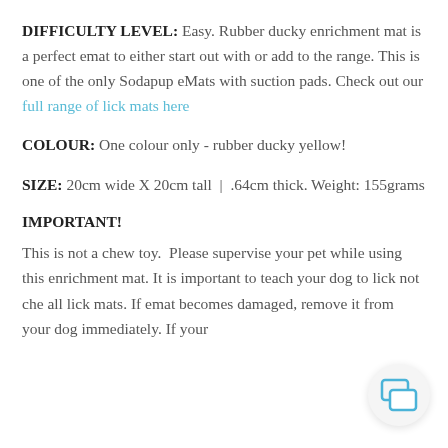DIFFICULTY LEVEL: Easy. Rubber ducky enrichment mat is a perfect emat to either start out with or add to the range. This is one of the only Sodapup eMats with suction pads. Check out our full range of lick mats here
COLOUR: One colour only - rubber ducky yellow!
SIZE: 20cm wide X 20cm tall | .64cm thick. Weight: 155grams
IMPORTANT!
This is not a chew toy. Please supervise your pet while using this enrichment mat. It is important to teach your dog to lick not che all lick mats. If emat becomes damaged, remove it from your dog immediately. If your